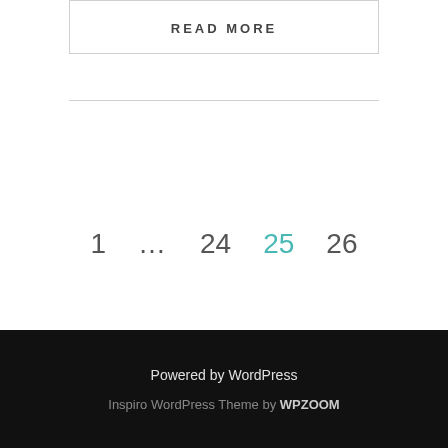READ MORE
1 … 24 25 26
Powered by WordPress
Inspiro WordPress Theme by WPZOOM